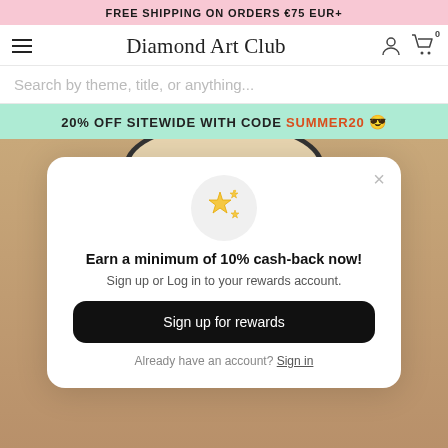FREE SHIPPING ON ORDERS €75 EUR+
Diamond Art Club
Search by theme, title, or anything...
20% OFF SITEWIDE WITH CODE SUMMER20 😎
[Figure (screenshot): Popup modal on Diamond Art Club website showing a rewards offer with sparkle stars icon, headline 'Earn a minimum of 10% cash-back now!', subtitle 'Sign up or Log in to your rewards account.', a black 'Sign up for rewards' button, and 'Already have an account? Sign in' link.]
Earn a minimum of 10% cash-back now!
Sign up or Log in to your rewards account.
Sign up for rewards
Already have an account? Sign in